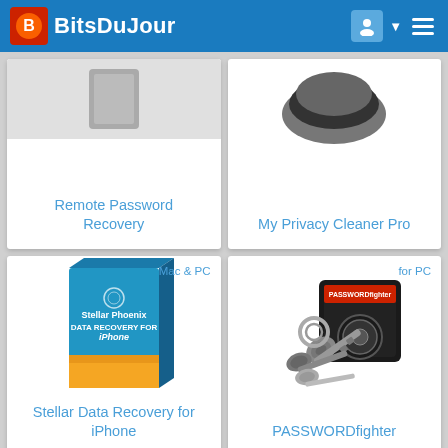BitsDuJour
[Figure (screenshot): Product card: Remote Password Recovery - no platform tag shown, blue link title]
[Figure (screenshot): Product card: My Privacy Cleaner Pro - partial product image at top, blue link title]
[Figure (screenshot): Product card: Stellar Data Recovery for iPhone - Mac & PC label, blue box product image, blue link title]
[Figure (screenshot): Product card: PASSWORDfighter - for PC label, keys and lock product image, blue link title]
[Figure (screenshot): Product card: Fresh (partial) - for PC label, partial Fresh logo visible]